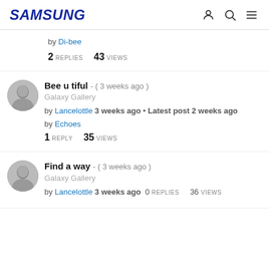SAMSUNG
by Di-bee
2 REPLIES   43 VIEWS
Bee u tiful - ( 3 weeks ago )
Galaxy Gallery
by Lancelottle 3 weeks ago • Latest post 2 weeks ago by Echoes
1 REPLY   35 VIEWS
Find a way - ( 3 weeks ago )
Galaxy Gallery
by Lancelottle 3 weeks ago  0 REPLIES   36 VIEWS